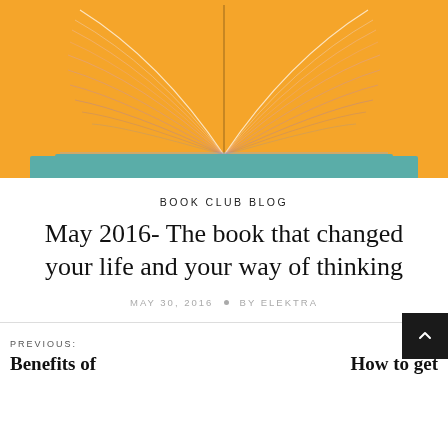[Figure (photo): Open book with pages fanned out in a heart shape against an orange/amber background, with teal/turquoise color at the bottom spine]
BOOK CLUB BLOG
May 2016- The book that changed your life and your way of thinking
MAY 30, 2016 • BY ELEKTRA
PREVIOUS: Benefits of
NEXT: How to get